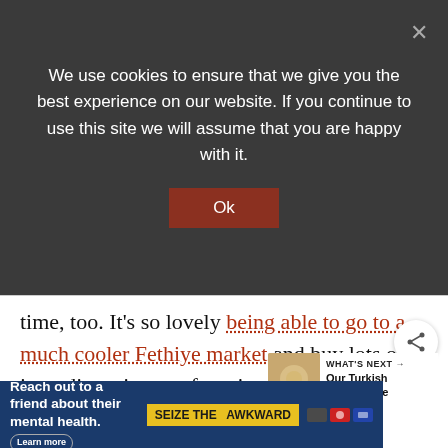We use cookies to ensure that we give you the best experience on our website. If you continue to use this site we will assume that you are happy with it.
Ok
time, too. It's so lovely being able to go to a much cooler Fethiye market and buy lots of ingredients in prep for winter.
Barry's made the winter chutney and I've made the mincemeat for Christmas mince pies and pickled
[Figure (other): Share button icon - circular white button with share icon]
[Figure (other): What's Next widget with thumbnail image of rice dish and text: WHAT'S NEXT → Our Turkish Rice Recipe]
[Figure (other): Advertisement banner: Reach out to a friend about their mental health. Learn more. SEIZE THE AWKWARD. Ad logos.]